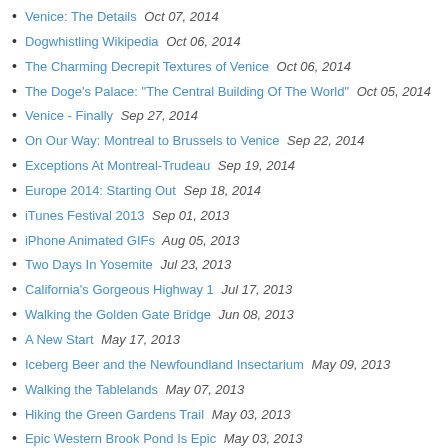Venice: The Details Oct 07, 2014
Dogwhistling Wikipedia Oct 06, 2014
The Charming Decrepit Textures of Venice Oct 06, 2014
The Doge's Palace: "The Central Building Of The World" Oct 05, 2014
Venice - Finally Sep 27, 2014
On Our Way: Montreal to Brussels to Venice Sep 22, 2014
Exceptions At Montreal-Trudeau Sep 19, 2014
Europe 2014: Starting Out Sep 18, 2014
iTunes Festival 2013 Sep 01, 2013
iPhone Animated GIFs Aug 05, 2013
Two Days In Yosemite Jul 23, 2013
California's Gorgeous Highway 1 Jul 17, 2013
Walking the Golden Gate Bridge Jun 08, 2013
A New Start May 17, 2013
Iceberg Beer and the Newfoundland Insectarium May 09, 2013
Walking the Tablelands May 07, 2013
Hiking the Green Gardens Trail May 03, 2013
Epic Western Brook Pond Is Epic May 03, 2013
Bonne Bay May 01, 2013
Climbing Gros Morne Mountain Apr 15, 2013
Getting to Gros Morne Apr 10, 2013